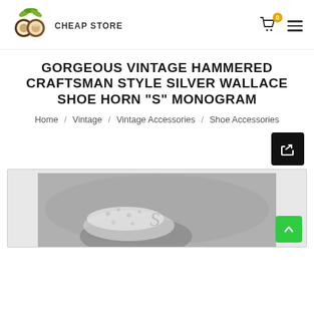CHEAP STORE
GORGEOUS VINTAGE HAMMERED CRAFTSMAN STYLE SILVER WALLACE SHOE HORN "S" MONOGRAM
Home / Vintage / Vintage Accessories / Shoe Accessories
[Figure (photo): Product photo of a vintage hammered craftsman style silver shoe horn with monogram, partially visible at the bottom of the page]
[Figure (other): Share button (black square with white arrow/share icon)]
[Figure (other): Scroll to top button (green square with white upward arrow)]